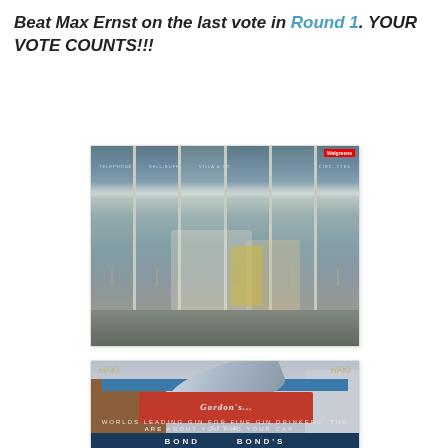Beat Max Ernst on the last vote in Round 1. YOUR VOTE COUNTS!!!
[Figure (photo): Photorealist painting of reflective glass revolving doors on a city street with figures visible through the glass]
[Figure (photo): Photorealist painting of Times Square billboards featuring Gordon's gin advertisement with a large bottle, Haig whisky signs, and Bond clothing store signage with city buildings in background]